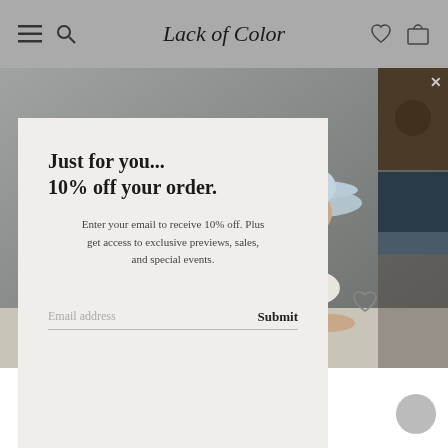Lack of Color
[Figure (screenshot): E-commerce product page for 'Lack of Color' brand showing a woman wearing a white outfit and light blue wide-brim hat, seated, with a promotional popup overlay offering 10% off]
Just for you... 10% off your order.
Enter your email to receive 10% off. Plus get access to exclusive previews, sales, and special events.
Email address   Submit
ROSE RANCHER - KIDS
★★★★½ 3 REVIEWS
$69.00 USD